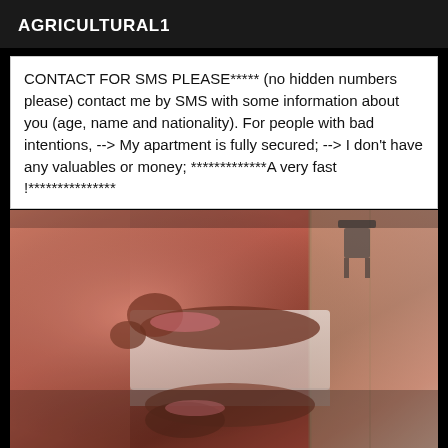AGRICULTURAL1
CONTACT FOR SMS PLEASE***** (no hidden numbers please) contact me by SMS with some information about you (age, name and nationality). For people with bad intentions, --> My apartment is fully secured; --> I don't have any valuables or money; *************A very fast !***************
[Figure (photo): Indoor bedroom photo showing a person lying on a bed with pink/warm lighting, a chair visible in the background, and what appears to be a mirrored wardrobe.]